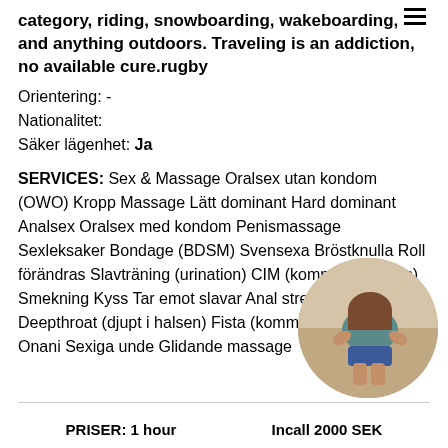category, riding, snowboarding, wakeboarding, and anything outdoors. Traveling is an addiction, no available cure.rugby
Orientering: -
Nationalitet:
Säker lägenhet: Ja
SERVICES: Sex & Massage Oralsex utan kondom (OWO) Kropp Massage Lätt dominant Hard dominant Analsex Oralsex med kondom Penismassage Sexleksaker Bondage (BDSM) Svensexa Bröstknulla Roll förändras Slavträning (urination) CIM (komma i munnen) Smekning Kyss Tar emot slavar Anal stretching Deepthroat (djupt i halsen) Fista (komma på kroppen) Onani Sexiga unde Glidande massage
[Figure (photo): Circular cropped photo of a person]
PRISER: 1 hour    Incall 2000 SEK